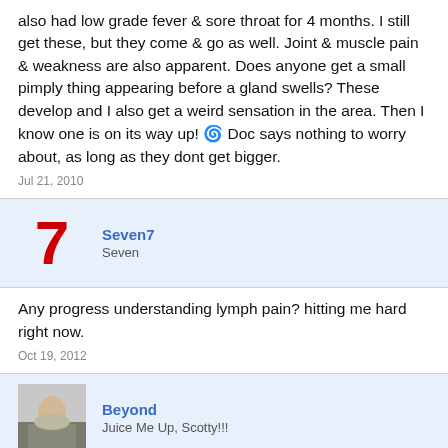also had low grade fever & sore throat for 4 months. I still get these, but they come & go as well. Joint & muscle pain & weakness are also apparent. Does anyone get a small pimply thing appearing before a gland swells? These develop and I also get a weird sensation in the area. Then I know one is on its way up! 🌀 Doc says nothing to worry about, as long as they dont get bigger.
Jul 21, 2010
Seven7
Seven
Any progress understanding lymph pain? hitting me hard right now.
Oct 19, 2012
Beyond
Juice Me Up, Scotty!!!